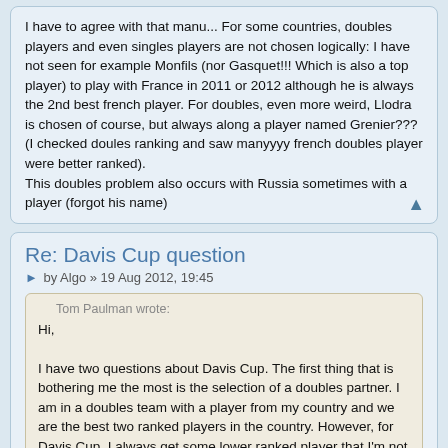I have to agree with that manu... For some countries, doubles players and even singles players are not chosen logically: I have not seen for example Monfils (nor Gasquet!!! Which is also a top player) to play with France in 2011 or 2012 although he is always the 2nd best french player. For doubles, even more weird, Llodra is chosen of course, but always along a player named Grenier??? (I checked doules ranking and saw manyyyy french doubles player were better ranked).
This doubles problem also occurs with Russia sometimes with a player (forgot his name)
Re: Davis Cup question
by Algo » 19 Aug 2012, 19:45
Tom Paulman wrote:
Hi,

I have two questions about Davis Cup. The first thing that is bothering me the most is the selection of a doubles partner. I am in a doubles team with a player from my country and we are the best two ranked players in the country. However, for Davis Cup, I always get some lower ranked player that I'm not used to play with. Why does it happen and is there a way to fix it and play with my normal partner?